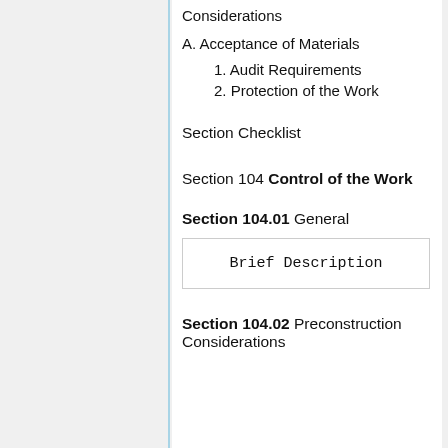Considerations
A. Acceptance of Materials
1. Audit Requirements
2. Protection of the Work
Section Checklist
Section 104 Control of the Work
Section 104.01 General
Brief Description
Section 104.02 Preconstruction Considerations